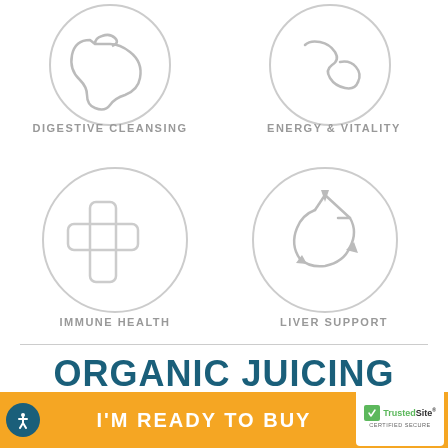[Figure (illustration): Two circular icons at top: digestive cleansing (stomach/gut icon) and energy & vitality (lightning/energy icon)]
DIGESTIVE CLEANSING
ENERGY & VITALITY
[Figure (illustration): Two circular icons: immune health (medical cross icon) and liver support (recycling arrows icon)]
IMMUNE HEALTH
LIVER SUPPORT
ORGANIC JUICING MADE
I'M READY TO BUY